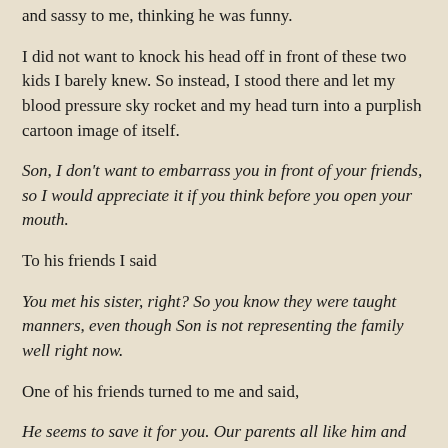and sassy to me, thinking he was funny.
I did not want to knock his head off in front of these two kids I barely knew. So instead, I stood there and let my blood pressure sky rocket and my head turn into a purplish cartoon image of itself.
Son, I don't want to embarrass you in front of your friends, so I would appreciate it if you think before you open your mouth.
To his friends I said
You met his sister, right? So you know they were taught manners, even though Son is not representing the family well right now.
One of his friends turned to me and said,
He seems to save it for you. Our parents all like him and he doesn't act like this at all around them.
I looked Son in the eye and...